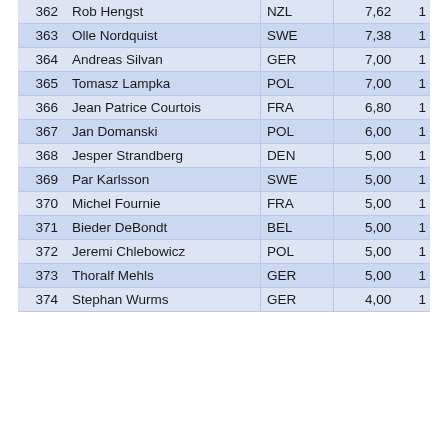| 362 | Rob Hengst | NZL | 7,62 | 1 |
| 363 | Olle Nordquist | SWE | 7,38 | 1 |
| 364 | Andreas Silvan | GER | 7,00 | 1 |
| 365 | Tomasz Lampka | POL | 7,00 | 1 |
| 366 | Jean Patrice Courtois | FRA | 6,80 | 1 |
| 367 | Jan Domanski | POL | 6,00 | 1 |
| 368 | Jesper Strandberg | DEN | 5,00 | 1 |
| 369 | Par Karlsson | SWE | 5,00 | 1 |
| 370 | Michel Fournie | FRA | 5,00 | 1 |
| 371 | Bieder DeBondt | BEL | 5,00 | 1 |
| 372 | Jeremi Chlebowicz | POL | 5,00 | 1 |
| 373 | Thoralf Mehls | GER | 5,00 | 1 |
| 374 | Stephan Wurms | GER | 4,00 | 1 |